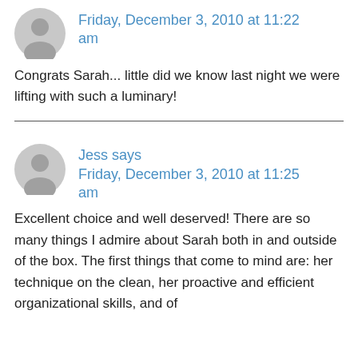[Figure (illustration): Gray avatar icon for first commenter]
Friday, December 3, 2010 at 11:22 am
Congrats Sarah... little did we know last night we were lifting with such a luminary!
[Figure (illustration): Gray avatar icon for Jess]
Jess says
Friday, December 3, 2010 at 11:25 am
Excellent choice and well deserved! There are so many things I admire about Sarah both in and outside of the box. The first things that come to mind are: her technique on the clean, her proactive and efficient organizational skills, and of